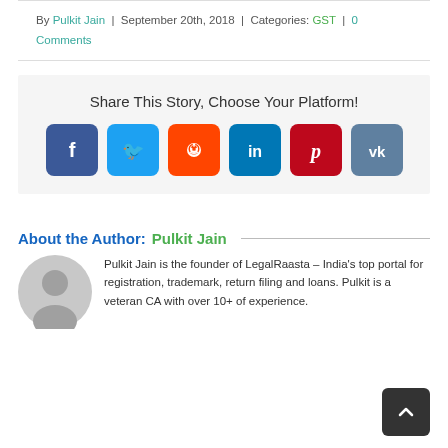By Pulkit Jain | September 20th, 2018 | Categories: GST | 0 Comments
Share This Story, Choose Your Platform!
[Figure (other): Social media share icons: Facebook, Twitter, Reddit, LinkedIn, Pinterest, VK]
About the Author: Pulkit Jain
[Figure (illustration): Default grey avatar/profile image of the author Pulkit Jain]
Pulkit Jain is the founder of LegalRaasta – India's top portal for registration, trademark, return filing and loans. Pulkit is a veteran CA with over 10+ of experience.